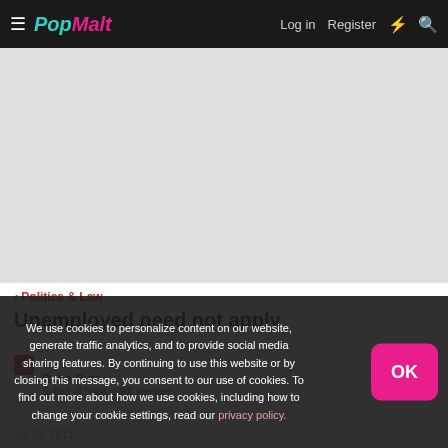PopMalt — Log in  Register
[Figure (other): Advertisement banner area (gray placeholder)]
< Politics & Law
Unemployed need not apply
Babe Ruth
Sultan of Swat, Staff member
We use cookies to personalize content on our website, generate traffic analytics, and to provide social media sharing features. By continuing to use this website or by closing this message, you consent to our use of cookies. To find out more about how we use cookies, including how to change your cookie settings, read our privacy policy.
Jul 26, 2011